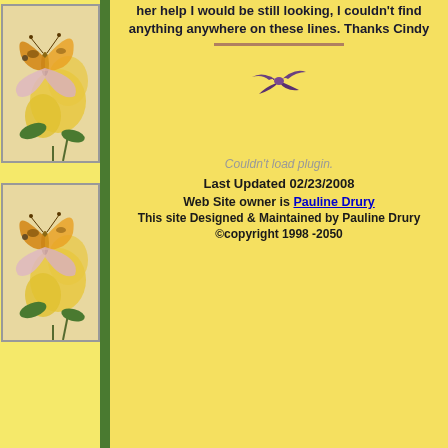[Figure (illustration): Butterfly and flower illustration, top left sidebar]
[Figure (illustration): Butterfly and flower illustration, bottom left sidebar]
her help I would be still looking, I couldn't find anything anywhere on these lines. Thanks Cindy
[Figure (illustration): Small purple bird/swallow flying icon]
Couldn't load plugin.
Last Updated 02/23/2008
Web Site owner is Pauline Drury
This site Designed & Maintained by Pauline Drury
©copyright 1998 -2050